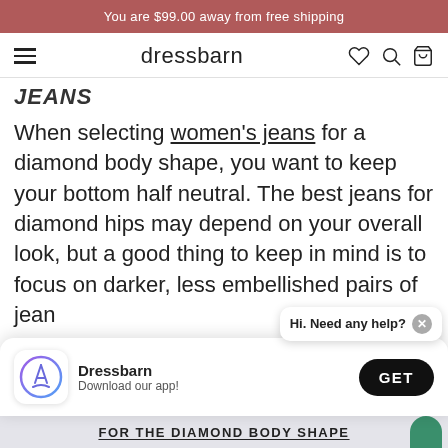You are $99.00 away from free shipping
dressbarn
JEANS
When selecting women's jeans for a diamond body shape, you want to keep your bottom half neutral. The best jeans for diamond hips may depend on your overall look, but a good thing to keep in mind is to focus on darker, less embellished pairs of jean
[Figure (screenshot): Chat help notification bubble saying 'Hi. Need any help?' with a close X button]
[Figure (screenshot): App download banner: Dressbarn app icon, 'Dressbarn Download our app!' text, and a black GET button]
FOR THE DIAMOND BODY SHAPE